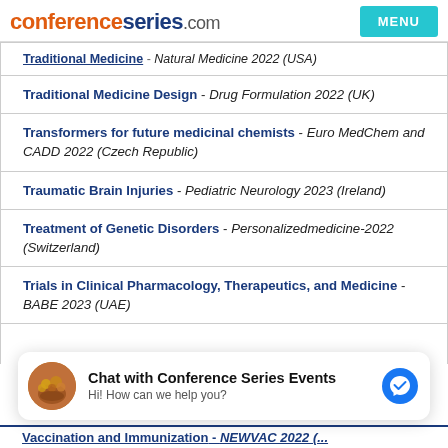conferenceseries.com | MENU
Traditional Medicine - Natural Medicine 2022 (USA)
Traditional Medicine Design - Drug Formulation 2022 (UK)
Transformers for future medicinal chemists - Euro MedChem and CADD 2022 (Czech Republic)
Traumatic Brain Injuries - Pediatric Neurology 2023 (Ireland)
Treatment of Genetic Disorders - Personalizedmedicine-2022 (Switzerland)
Trials in Clinical Pharmacology, Therapeutics, and Medicine - BABE 2023 (UAE)
[Figure (other): Chat with Conference Series Events messenger widget. Avatar image of spices/herbs bowl. Text: Hi! How can we help you?]
Vaccination and Immunization - NEWVAC 2022 (...)